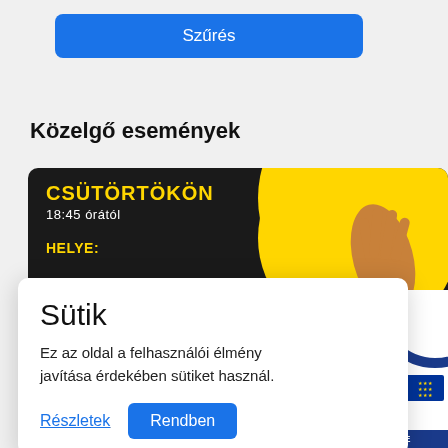Szűrés
Közelgő események
[Figure (screenshot): Event promotional image with dark background and yellow circle accent, showing text: CSÜTÖRTÖKÖN, 18:45 órától, HELYE:]
Sütik
Ez az oldal a felhasználói élmény javítása érdekében sütiket használ.
Részletek
Rendben
[Figure (logo): Széchenyi 2020 logo with blue arc, pin icon, EU flag, and text: Európai Unió, Európai Szociális, BEFEKTETÉS A JÖVŐBE]